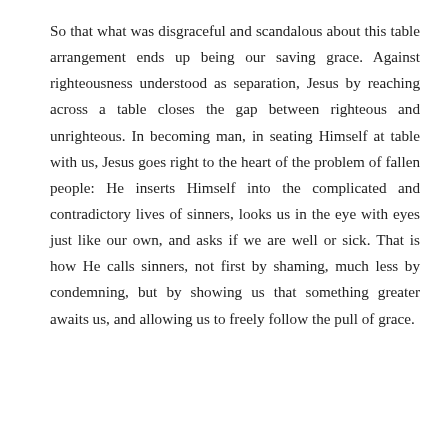So that what was disgraceful and scandalous about this table arrangement ends up being our saving grace. Against righteousness understood as separation, Jesus by reaching across a table closes the gap between righteous and unrighteous. In becoming man, in seating Himself at table with us, Jesus goes right to the heart of the problem of fallen people: He inserts Himself into the complicated and contradictory lives of sinners, looks us in the eye with eyes just like our own, and asks if we are well or sick. That is how He calls sinners, not first by shaming, much less by condemning, but by showing us that something greater awaits us, and allowing us to freely follow the pull of grace.